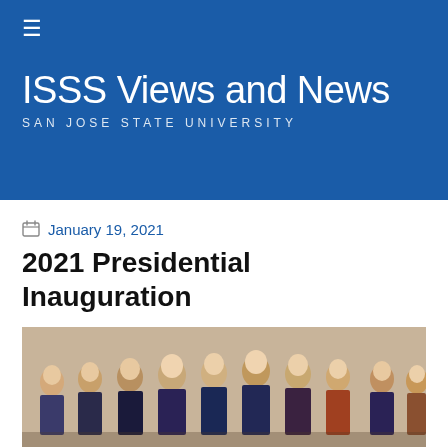ISSS Views and News — SAN JOSE STATE UNIVERSITY
January 19, 2021
2021 Presidential Inauguration
[Figure (photo): Historical illustration of the Founding Fathers of the United States, showing a group of men in 18th-century attire]